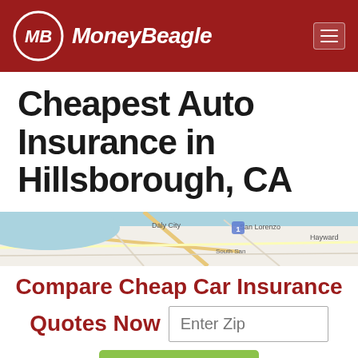[Figure (logo): MoneyBeagle logo with MB in a circle and site name in white italic text on dark red header bar]
Cheapest Auto Insurance in Hillsborough, CA
[Figure (map): Google Maps view of Hillsborough CA area showing Daly City, South San Francisco, San Lorenzo, Hayward]
Compare Cheap Car Insurance Quotes Now
[Figure (screenshot): Enter Zip input field and Get Rates > button]